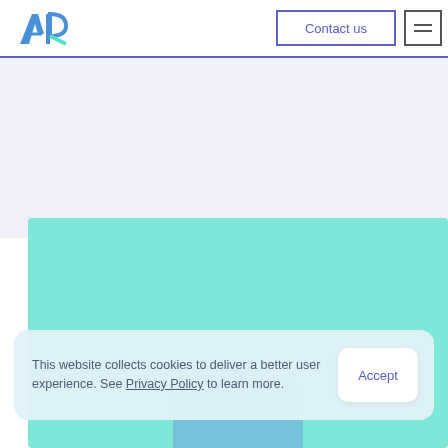AR logo | Contact us | menu
[Figure (screenshot): Light blue-grey background section filling the upper portion of the page below the header]
[Figure (illustration): Teal/mint colored rectangular section with a blue-purple translucent decorative shape at the bottom center]
This website collects cookies to deliver a better user experience. See Privacy Policy to learn more.
Accept